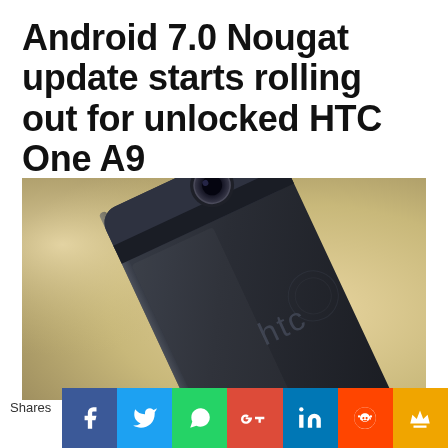Android 7.0 Nougat update starts rolling out for unlocked HTC One A9
[Figure (photo): Back of HTC One A9 smartphone showing camera, HTC logo, and metallic body against a blurred background]
Shares
[Figure (infographic): Social sharing buttons: Facebook, Twitter, WhatsApp, Google+, LinkedIn, Reddit, and a crown/bookmark icon]